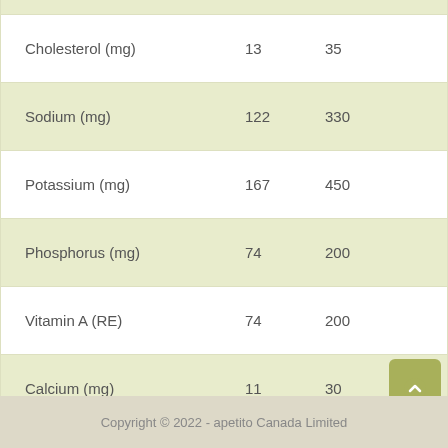| Nutrient | Per Serving | Daily Value |
| --- | --- | --- |
| Cholesterol (mg) | 13 | 35 |
| Sodium (mg) | 122 | 330 |
| Potassium (mg) | 167 | 450 |
| Phosphorus (mg) | 74 | 200 |
| Vitamin A (RE) | 74 | 200 |
| Calcium (mg) | 11 | 30 |
| Vitamin C (mg) | 0.6 | 1.5 |
Copyright © 2022 - apetito Canada Limited